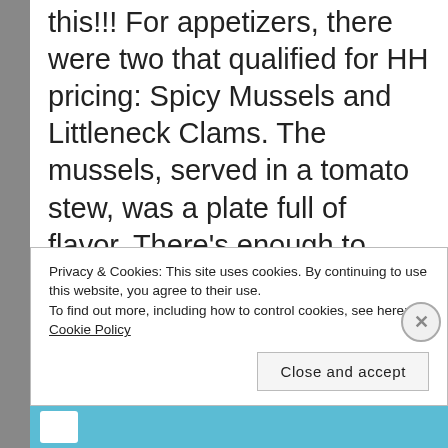this!!! For appetizers, there were two that qualified for HH pricing: Spicy Mussels and Littleneck Clams.  The mussels, served in a tomato stew, was a plate full of flavor.  There's enough to feed 2-3 people and  to use the baguette to clean up the leftovers.  Trust us, you will
Privacy & Cookies: This site uses cookies. By continuing to use this website, you agree to their use.
To find out more, including how to control cookies, see here:
Cookie Policy
Close and accept